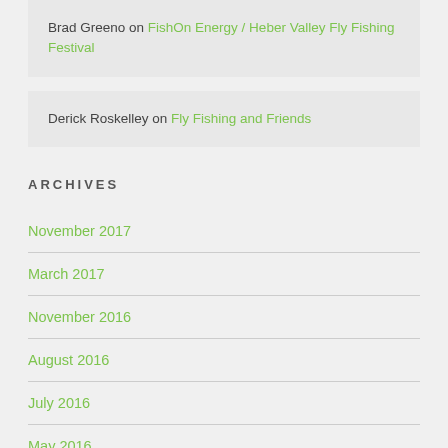Brad Greeno on FishOn Energy / Heber Valley Fly Fishing Festival
Derick Roskelley on Fly Fishing and Friends
ARCHIVES
November 2017
March 2017
November 2016
August 2016
July 2016
May 2016